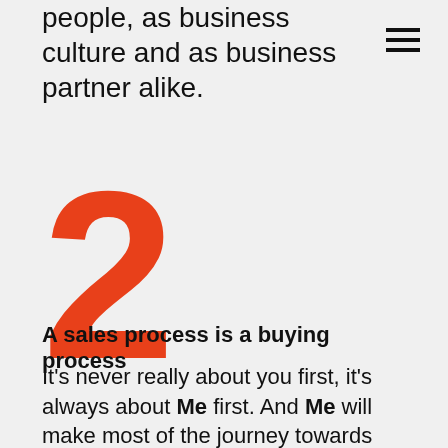people, as business culture and as business partner alike.
[Figure (other): Hamburger menu icon (three horizontal lines)]
2
A sales process is a buying process
It's never really about you first, it's always about Me first. And Me will make most of the journey towards you by myself, anyway, anyhow and anytime I happen to feel like it. Perspectivel